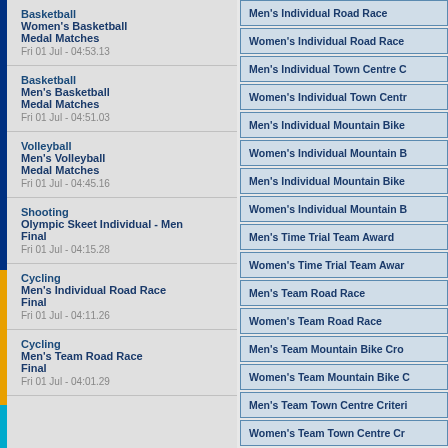Basketball
Women's Basketball
Medal Matches
Fri 01 Jul - 04:53.13
Basketball
Men's Basketball
Medal Matches
Fri 01 Jul - 04:51.03
Volleyball
Men's Volleyball
Medal Matches
Fri 01 Jul - 04:45.16
Shooting
Olympic Skeet Individual - Men
Final
Fri 01 Jul - 04:15.28
Cycling
Men's Individual Road Race
Final
Fri 01 Jul - 04:11.26
Cycling
Men's Team Road Race
Final
Fri 01 Jul - 04:01.29
Men's Individual Road Race
Women's Individual Road Race
Men's Individual Town Centre C
Women's Individual Town Centr
Men's Individual Mountain Bike
Women's Individual Mountain B
Men's Individual Mountain Bike
Women's Individual Mountain B
Men's Time Trial Team Award
Women's Time Trial Team Awar
Men's Team Road Race
Women's Team Road Race
Men's Team Mountain Bike Cro
Women's Team Mountain Bike C
Men's Team Town Centre Criteri
Women's Team Town Centre Cr
www.na
© Exis Lt
Privacy & Cookies Policy | Hel